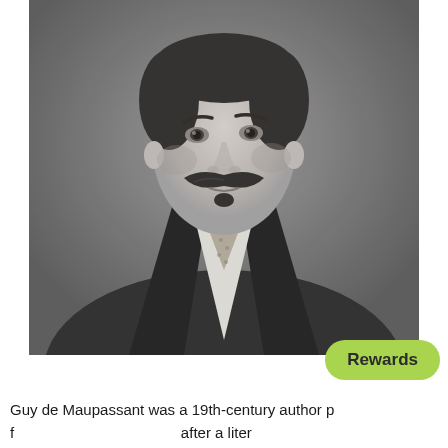[Figure (photo): Black and white portrait photograph of Guy de Maupassant, a 19th-century man with a prominent mustache and soul patch, wearing a dark suit jacket with a white shirt and patterned cravat/tie.]
Guy de Maupassant was a 19th-century author p... f... after a liter...